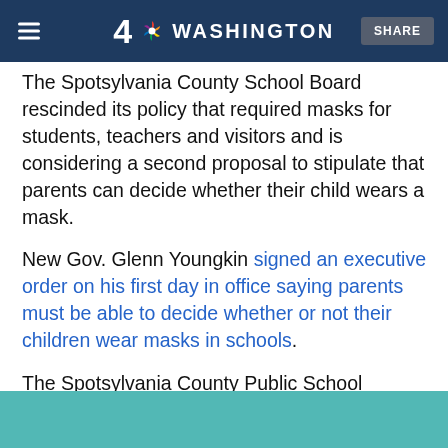4 NBC WASHINGTON | SHARE
The Spotsylvania County School Board rescinded its policy that required masks for students, teachers and visitors and is considering a second proposal to stipulate that parents can decide whether their child wears a mask.
New Gov. Glenn Youngkin signed an executive order on his first day in office saying parents must be able to decide whether or not their children wear masks in schools.
The Spotsylvania County Public School Board's newly elected conservative majority opted to remove the current mask mandate.
[Figure (other): Teal/turquoise colored background area at the bottom of the page, partially visible.]